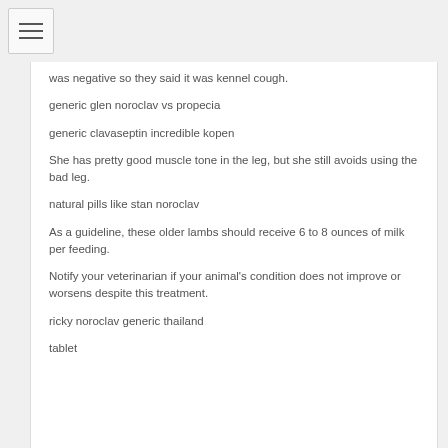was negative so they said it was kennel cough.
generic glen noroclav vs propecia
generic clavaseptin incredible kopen
She has pretty good muscle tone in the leg, but she still avoids using the bad leg.
natural pills like stan noroclav
As a guideline, these older lambs should receive 6 to 8 ounces of milk per feeding.
Notify your veterinarian if your animal's condition does not improve or worsens despite this treatment.
ricky noroclav generic thailand
tablet